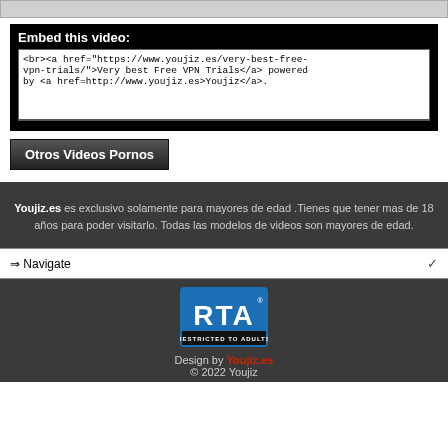[Figure (screenshot): Gray input/video bar at top]
Embed this video:
<br><a href="https://www.youjiz.es/very-best-free-vpn-trials/">Very best Free VPN Trials</a> powered by <a href=http://www.youjiz.es>Youjiz</a>.
Otros Videos Pornos
Youjiz.es es exclusivo solamente para mayores de edad .Tienes que tener mas de 18 años para poder visitarlo. Todas las modelos de videos son mayores de edad.
⇒ Navigate
[Figure (logo): RTA Restricted to Adults badge]
Design by Youjiz.es © 2022 Youjiz